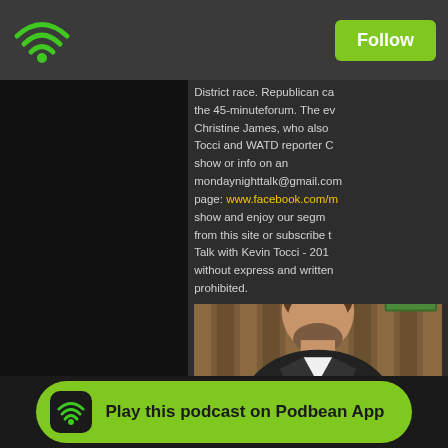[Figure (logo): WiFi/podcast signal icon in green on dark top bar]
Follow
District race. Republican ca... the 45-minuteforum. The ev... Christine James, who also ... Tocci and WATD reporter C... show or info on an ... mondaynighttalk@gmail.com... page: www.facebook.com/m... show and enjoy our segm... from this site or subscribe t... Talk with Kevin Tocci - 201... without express and written ... prohibited.
[Figure (photo): Photo of a man with a beard in a dark suit, sitting in front of wooden paneling and a painting]
Play this podcast on Podbean App